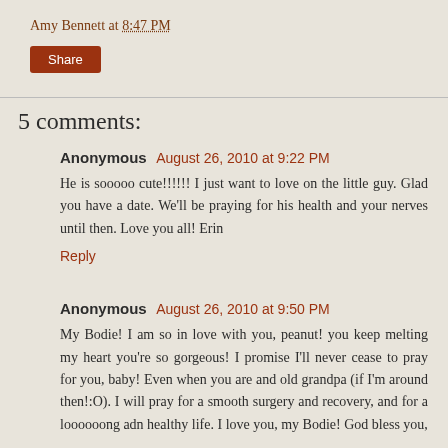Amy Bennett at 8:47 PM
Share
5 comments:
Anonymous  August 26, 2010 at 9:22 PM
He is sooooo cute!!!!!! I just want to love on the little guy. Glad you have a date. We'll be praying for his health and your nerves until then. Love you all! Erin
Reply
Anonymous  August 26, 2010 at 9:50 PM
My Bodie! I am so in love with you, peanut! you keep melting my heart you're so gorgeous! I promise I'll never cease to pray for you, baby! Even when you are and old grandpa (if I'm around then!:O). I will pray for a smooth surgery and recovery, and for a loooooong adn healthy life. I love you, my Bodie! God bless you,